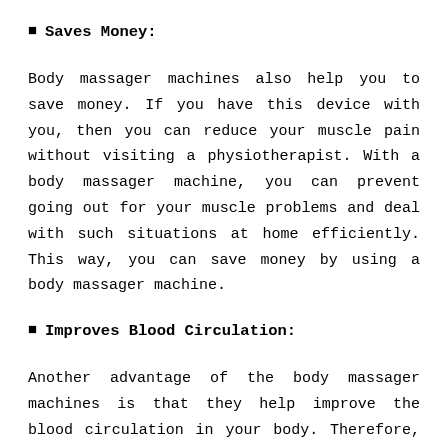Saves Money:
Body massager machines also help you to save money. If you have this device with you, then you can reduce your muscle pain without visiting a physiotherapist. With a body massager machine, you can prevent going out for your muscle problems and deal with such situations at home efficiently. This way, you can save money by using a body massager machine.
Improves Blood Circulation:
Another advantage of the body massager machines is that they help improve the blood circulation in your body. Therefore, those who suffer from poor blood circulation